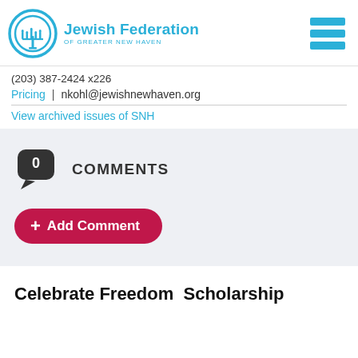[Figure (logo): Jewish Federation of Greater New Haven logo with circular menorah emblem and blue text, plus hamburger menu icon on the right]
(203) 387-2424 x226
Pricing | nkohl@jewishnewhaven.org
View archived issues of SNH
[Figure (other): Comment bubble icon showing 0 comments]
0 COMMENTS
+ Add Comment
Celebrate Freedom Scholarship